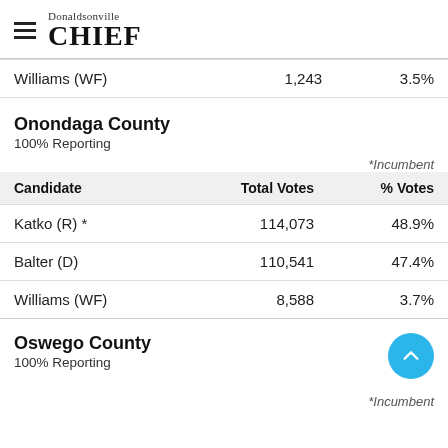Donaldsonville CHIEF
| Candidate | Total Votes | % Votes |
| --- | --- | --- |
| Williams (WF) | 1,243 | 3.5% |
Onondaga County
100% Reporting
*Incumbent
| Candidate | Total Votes | % Votes |
| --- | --- | --- |
| Katko (R) * | 114,073 | 48.9% |
| Balter (D) | 110,541 | 47.4% |
| Williams (WF) | 8,588 | 3.7% |
Oswego County
100% Reporting
*Incumbent